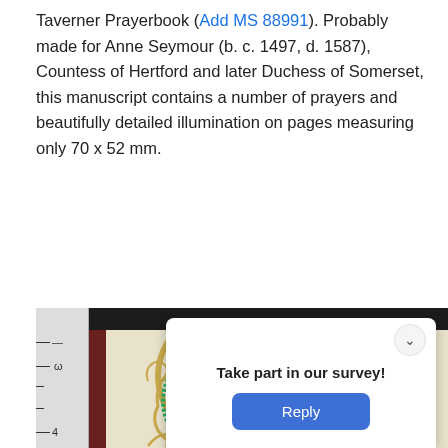Taverner Prayerbook (Add MS 88991). Probably made for Anne Seymour (b. c. 1497, d. 1587), Countess of Hertford and later Duchess of Somerset, this manuscript contains a number of prayers and beautifully detailed illumination on pages measuring only 70 x 52 mm.
[Figure (photo): Photograph of an illuminated manuscript page from the Taverner Prayerbook, shown open and photographed next to a ruler (measuring approximately 3-7 cm visible). The manuscript shows a heraldic coat of arms with detailed illumination featuring red, blue, gold, and green colors within an ornate border. A survey popup overlay is visible at the bottom center with the text 'Take part in our survey!' and a blue 'Reply' button.]